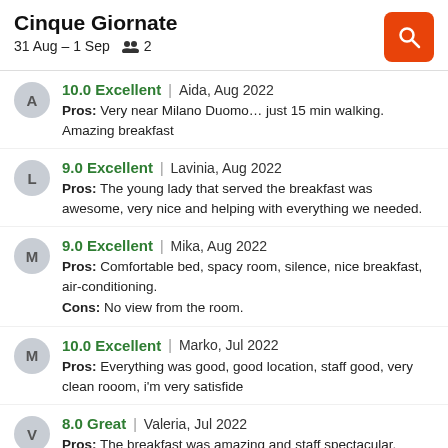Cinque Giornate
31 Aug – 1 Sep   2
10.0 Excellent | Aida, Aug 2022
Pros: Very near Milano Duomo... just 15 min walking. Amazing breakfast
9.0 Excellent | Lavinia, Aug 2022
Pros: The young lady that served the breakfast was awesome, very nice and helping with everything we needed.
9.0 Excellent | Mika, Aug 2022
Pros: Comfortable bed, spacy room, silence, nice breakfast, air-conditioning.
Cons: No view from the room.
10.0 Excellent | Marko, Jul 2022
Pros: Everything was good, good location, staff good, very clean rooom, i'm very satisfide
8.0 Great | Valeria, Jul 2022
Pros: The breakfast was amazing and staff spectacular.